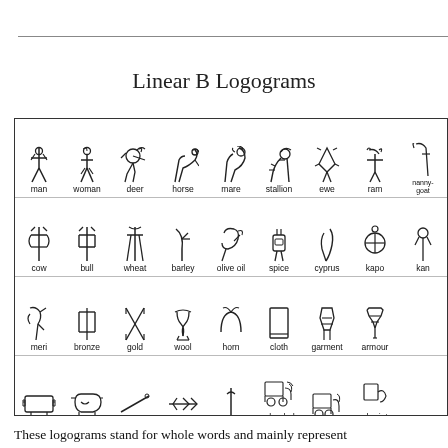Linear B Logograms
[Figure (illustration): Grid of Linear B logograms showing ancient symbols with their English labels arranged in 4 rows: Row 1: man, woman, deer, horse, mare, stallion, ewe, ram, nanny-goat; Row 2: cow, bull, wheat, barley, olive oil, spice, cyprus, kapo, kan; Row 3: meri, bronze, gold, wool, horn, cloth, garment, armour; Row 4: footstool, bathtub, spear, arrow, sword, wheeled chariot, chariot, chariot frame]
These logograms stand for whole words and mainly represent